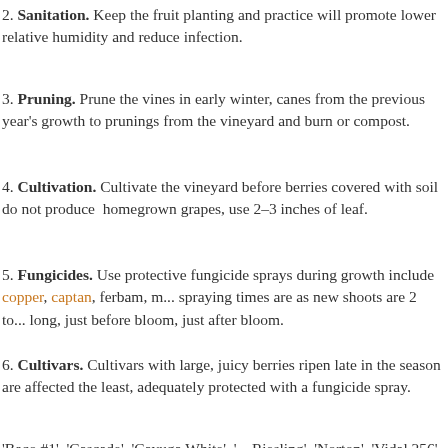2. Sanitation. Keep the fruit planting and practice will promote lower relative humidity and reduce infection.
3. Pruning. Prune the vines in early winter, canes from the previous year's growth to prunings from the vineyard and burn or compost.
4. Cultivation. Cultivate the vineyard before berries covered with soil do not produce homegrown grapes, use 2–3 inches of leaf.
5. Fungicides. Use protective fungicide sprays during growth include copper, captan, ferbam, m... spraying times are as new shoots are 2 to ... long, just before bloom, just after bloom.
6. Cultivars. Cultivars with large, juicy berries ripen late in the season are affected the least, adequately protected with a fungicide spray.
'Baco #1', 'Cascade', 'Cayuga White', '... Riesling', 'Norton', 'Vidal 256', and 'Ve...
Organic Strategies